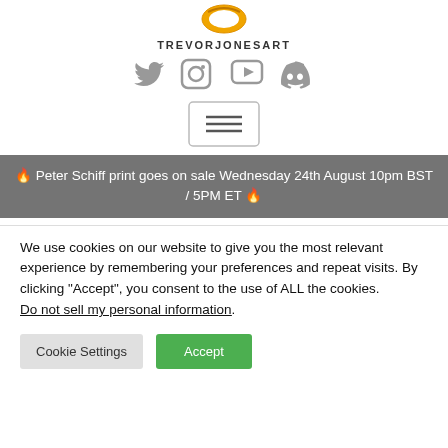[Figure (logo): Trevor Jones Art logo - partial orange circular logo at top]
TREVORJONESART
[Figure (infographic): Row of four social media icons: Twitter, Instagram, YouTube, Discord in gray]
[Figure (other): Hamburger menu button with three horizontal lines in a bordered box]
🔥 Peter Schiff print goes on sale Wednesday 24th August 10pm BST / 5PM ET 🔥
We use cookies on our website to give you the most relevant experience by remembering your preferences and repeat visits. By clicking "Accept", you consent to the use of ALL the cookies.
Do not sell my personal information.
Cookie Settings
Accept